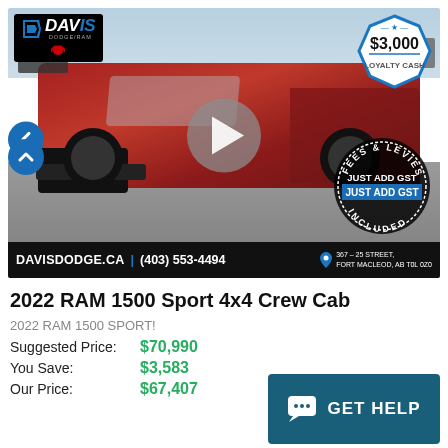[Figure (photo): 2022 RAM 1500 Sport 4x4 Crew Cab in dark red/maroon, parked at Davis Dodge dealership lot. Davis logo top-left, $3,000 Loyalty Cash badge top-right, play button overlay center, Fees & Levies JUST ADD GST INCLUDED stamp bottom-right, dealership info bar at bottom.]
2022 RAM 1500 Sport 4x4 Crew Cab
2022 RAM 1500 SPORT!
Suggested Price: $70,990
You Save: $3,583
Our Price: $67,407